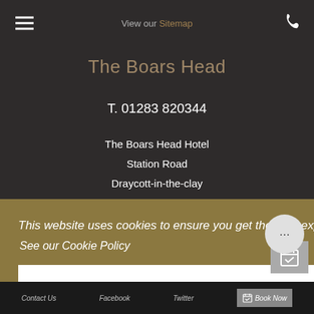View our Sitemap
The Boars Head
T. 01283 820344
The Boars Head Hotel
Station Road
Draycott-in-the-clay
This website uses cookies to ensure you get the best experience on our website.
See our Cookie Policy
OK
Contact Us   Facebook   Twitter   Book Now